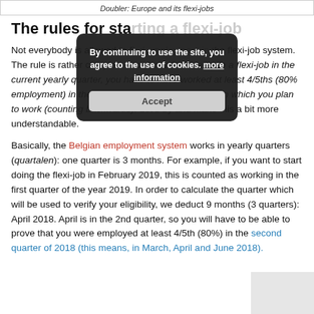Doubler: Europe and its flexi-jobs
The rules for starting a flexi-job
Not everybody is allowed to find employment in the flexi-job system. The rule is rather complex: in order to be able to do a flexi-job in the current yearly quarter, you have to have worked at least 4/5ths (80% employment) in the 3rd quarter before the quarter in which you plan to work (counting backwards). Let’s try and make this a bit more understandable.
Basically, the Belgian employment system works in yearly quarters (quartalen): one quarter is 3 months. For example, if you want to start doing the flexi-job in February 2019, this is counted as working in the first quarter of the year 2019. In order to calculate the quarter which will be used to verify your eligibility, we deduct 9 months (3 quarters): April 2018. April is in the 2nd quarter, so you will have to be able to prove that you were employed at least 4/5th (80%) in the second quarter of 2018 (this means, in March, April and June 2018).